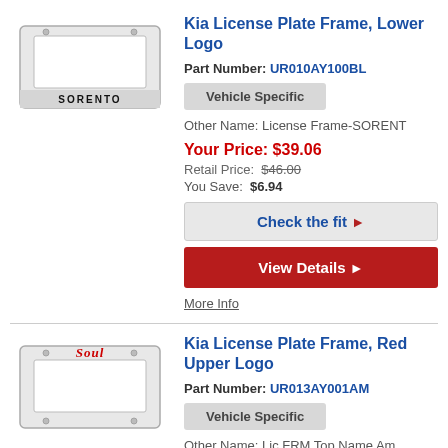Kia License Plate Frame, Lower Logo
Part Number: UR010AY100BL
Vehicle Specific
Other Name: License Frame-SORENT
Your Price: $39.06
Retail Price: $46.00
You Save: $6.94
Check the fit
View Details
More Info
Kia License Plate Frame, Red Upper Logo
Part Number: UR013AY001AM
Vehicle Specific
Other Name: Lic FRM Top Name Am